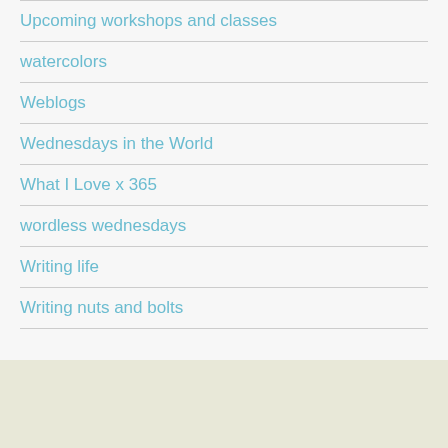Upcoming workshops and classes
watercolors
Weblogs
Wednesdays in the World
What I Love x 365
wordless wednesdays
Writing life
Writing nuts and bolts